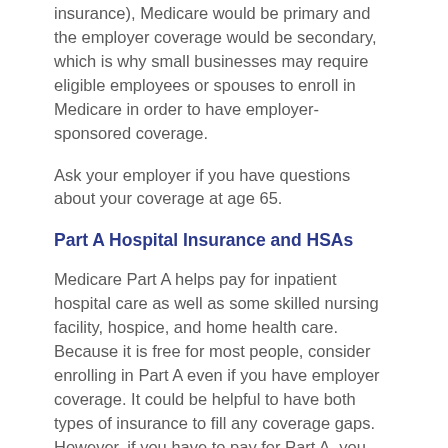insurance), Medicare would be primary and the employer coverage would be secondary, which is why small businesses may require eligible employees or spouses to enroll in Medicare in order to have employer-sponsored coverage.
Ask your employer if you have questions about your coverage at age 65.
Part A Hospital Insurance and HSAs
Medicare Part A helps pay for inpatient hospital care as well as some skilled nursing facility, hospice, and home health care. Because it is free for most people, consider enrolling in Part A even if you have employer coverage. It could be helpful to have both types of insurance to fill any coverage gaps. However, if you have to pay for Part A, you may want to wait before enrolling.
If you have a high-deductible health plan through work, keep in mind that you cannot contribute to a